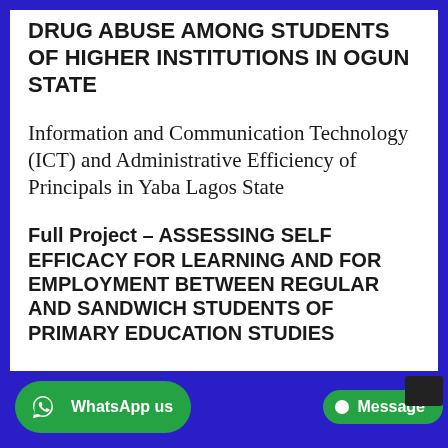DRUG ABUSE AMONG STUDENTS OF HIGHER INSTITUTIONS IN OGUN STATE
Information and Communication Technology (ICT) and Administrative Efficiency of Principals in Yaba Lagos State
Full Project – ASSESSING SELF EFFICACY FOR LEARNING AND FOR EMPLOYMENT BETWEEN REGULAR AND SANDWICH STUDENTS OF PRIMARY EDUCATION STUDIES
WhatsApp us   Message